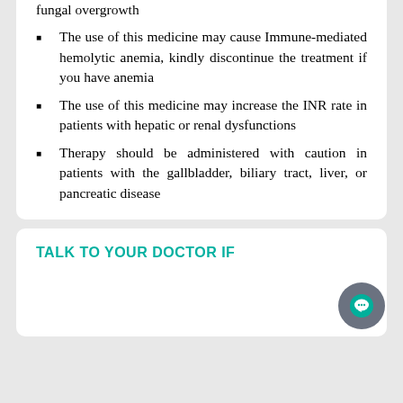fungal overgrowth
The use of this medicine may cause Immune-mediated hemolytic anemia, kindly discontinue the treatment if you have anemia
The use of this medicine may increase the INR rate in patients with hepatic or renal dysfunctions
Therapy should be administered with caution in patients with the gallbladder, biliary tract, liver, or pancreatic disease
TALK TO YOUR DOCTOR IF